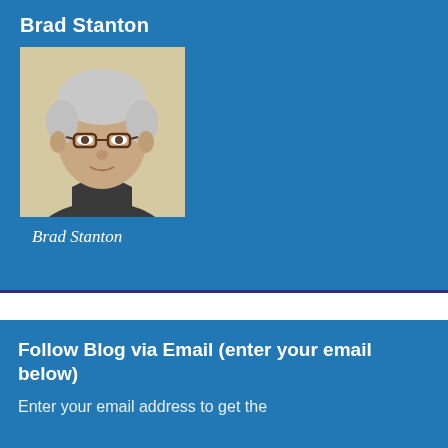Brad Stanton
[Figure (photo): Headshot photo of Brad Stanton, a middle-aged man with gray-white hair and glasses, wearing a dark shirt, photographed against a light background.]
Brad Stanton
Follow Blog via Email (enter your email below)
Enter your email address to get the